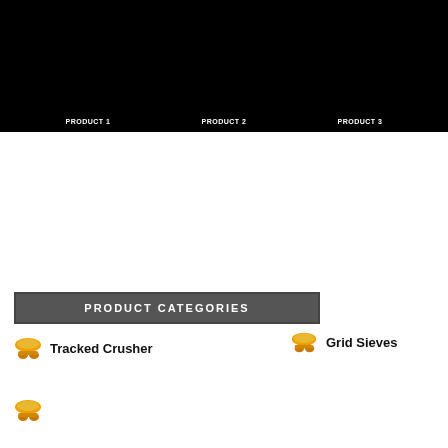[Figure (photo): Dark/black hero banner image at top of page showing machinery/equipment, with small white text labels visible at bottom of banner area]
PRODUCT CATEGORIES
Tracked Crusher
Grid Sieves